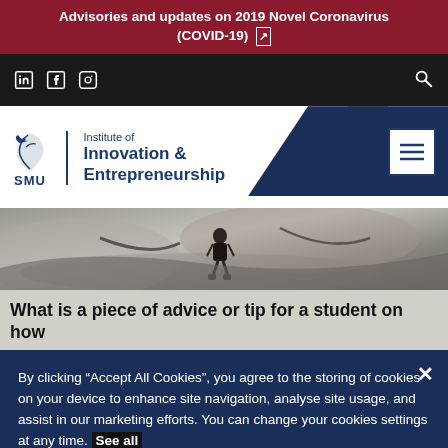Advisories and updates on 2019 Novel Coronavirus (COVID-19)
[Figure (screenshot): Social media icons (LinkedIn, Facebook, Instagram) and search icon on dark navigation bar]
[Figure (logo): SMU Institute of Innovation & Entrepreneurship logo with bird icon]
[Figure (photo): Hero image showing a person climbing or navigating rocky terrain outdoors]
What is a piece of advice or tip for a student on how
By clicking “Accept All Cookies”, you agree to the storing of cookies on your device to enhance site navigation, analyse site usage, and assist in our marketing efforts. You can change your cookies settings at any time. See all website cookies
Cookies Settings   Accept All Cookies